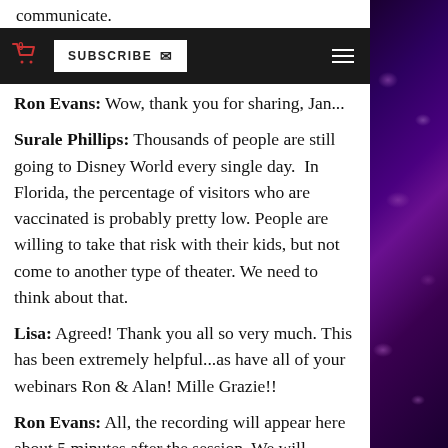communicate.
Ron Evans: Wow, thank you for sharing, Jan...
SUBSCRIBE [icon] [hamburger menu]
Surale Phillips: Thousands of people are still going to Disney World every single day. In Florida, the percentage of visitors who are vaccinated is probably pretty low. People are willing to take that risk with their kids, but not come to another type of theater. We need to think about that.
Lisa: Agreed! Thank you all so very much. This has been extremely helpful...as have all of your webinars Ron & Alan! Mille Grazie!!
Ron Evans: All, the recording will appear here about 5 minutes after the session. We will respond to other questions via email. Thank you for